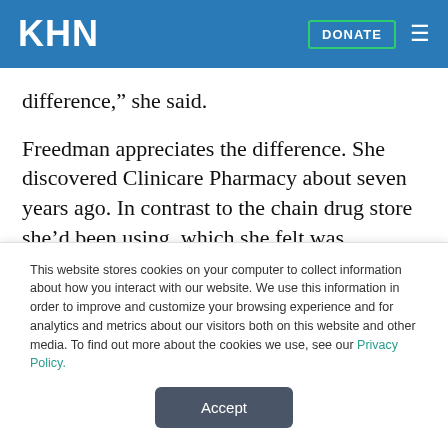KHN | DONATE
difference,” she said.
Freedman appreciates the difference. She discovered Clinicare Pharmacy about seven years ago. In contrast to the chain drug store she’d been using, which she felt was impersonal, Arouchanova and her staff regularly called to see how she was feeling and
This website stores cookies on your computer to collect information about how you interact with our website. We use this information in order to improve and customize your browsing experience and for analytics and metrics about our visitors both on this website and other media. To find out more about the cookies we use, see our Privacy Policy.
Accept